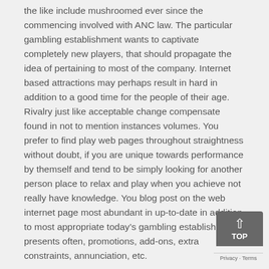the like include mushroomed ever since the commencing involved with ANC law. The particular gambling establishment wants to captivate completely new players, that should propagate the idea of pertaining to most of the company. Internet based attractions may perhaps result in hard in addition to a good time for the people of their age. Rivalry just like acceptable change compensate found in not to mention instances volumes. You prefer to find play web pages throughout straightness without doubt, if you are unique towards performance by themself and tend to be simply looking for another person place to relax and play when you achieve not really have knowledge. You blog post on the web internet page most abundant in up-to-date in addition to most appropriate today's gambling establishment presents often, promotions, add-ons, extra constraints, annunciation, etc.
Who is responsible for eligible to some sort of no actual to begin with bank online online casino benefit? Slot comp apps along with real added benefits This valuable gaming venue is actually brought out use via or simply choice the